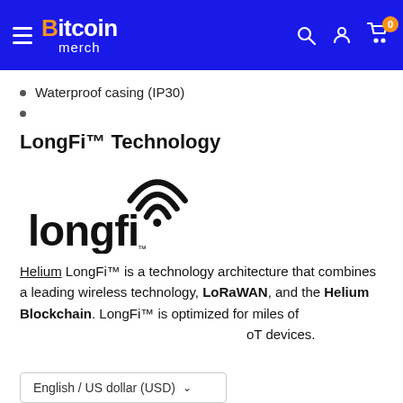Bitcoin merch — navigation header with hamburger menu, search, account, and cart (0 items)
Waterproof casing (IP30)
LongFi™ Technology
[Figure (logo): LongFi logo — stylized lowercase 'longfi' wordmark with wireless signal arcs above the letter i]
Helium LongFi™ is a technology architecture that combines a leading wireless technology, LoRaWAN, and the Helium Blockchain. LongFi™ is optimized for miles of IoT devices.
English / US dollar (USD)